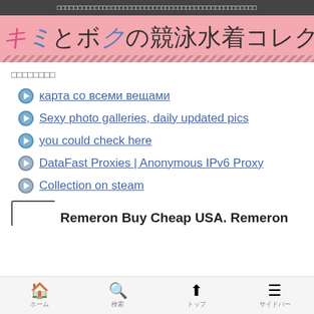□□□□□□□□□□□□□□□□□□□□□□□□□□□□□□□□□□□□□□□□□□□□□
キミとボクの競泳水着コレクション
□□□□□□□□
карта со всеми вещами
Sexy photo galleries, daily updated pics
you could check here
DataFast Proxies | Anonymous IPv6 Proxy
Collection on steam
Remeron Buy Cheap USA. Remeron
ホーム　検索　トップ　サイドバー